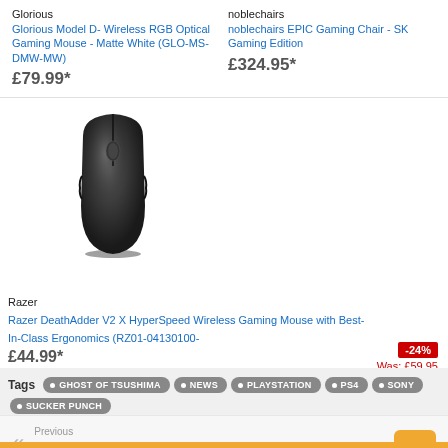Glorious
Glorious Model D- Wireless RGB Optical Gaming Mouse - Matte White (GLO-MS-DMW-MW)
£79.99*
noblechairs
noblechairs EPIC Gaming Chair - SK Gaming Edition
£324.95*
[Figure (photo): Black Razer gaming mouse (top-down view)]
Razer
Razer DeathAdder V2 X HyperSpeed Wireless Gaming Mouse with Best-In-Class Ergonomics (RZ01-04130100-
£44.99*
-24%
Was: £59.95
Tags  GHOST OF TSUSHIMA  NEWS  PLAYSTATION  PS4  SONY  SUCKER PUNCH
Previous
Grand Theft Auto V is free until May 21